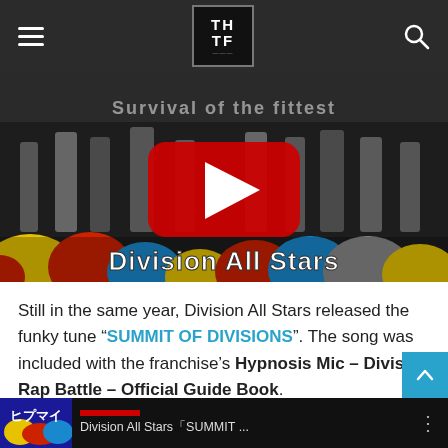THTF site navigation header with hamburger menu, logo, and search icon
[Figure (screenshot): YouTube video thumbnail showing black-and-white photo of performers with 'Division All Stars' graffiti text on colorful bubbles background and YouTube play button overlay]
Still in the same year, Division All Stars released the funky tune “SUMMIT OF DIVISIONS”. The song was included with the franchise’s Hypnosis Mic – Division Rap Battle – Official Guide Book.
[Figure (screenshot): YouTube video thumbnail showing Division All Stars SUMMIT video with colorful thumbnail]